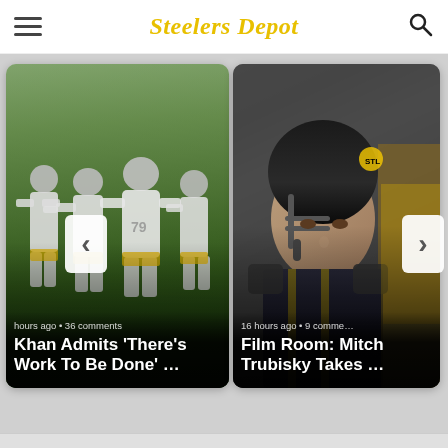Steelers Depot
[Figure (photo): Football players in white Steelers uniforms running on field — carousel card with title 'Khan Admits There's Work To Be Done …' and metadata '...hours ago • 36 comments']
[Figure (photo): Close-up of quarterback Mitch Trubisky in dark helmet — carousel card with title 'Film Room: Mitch Trubisky Takes …' and metadata '16 hours ago • 9 comments']